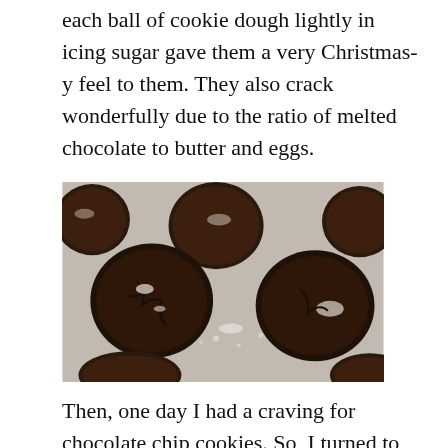each ball of cookie dough lightly in icing sugar gave them a very Christmas-y feel to them. They also crack wonderfully due to the ratio of melted chocolate to butter and eggs.
[Figure (photo): Close-up photograph of chocolate crinkle cookies on a baking sheet, showing dark chocolate cookies with white powdered sugar crinkle cracks on top, arranged in rows on parchment paper.]
Then, one day I had a craving for chocolate chip cookies. So, I turned to "My Newest Chocolate Chip Cookies" and followed that recipe. I had to skip the spices (coriander and nutmeg) as I didn't have those spices in my pantry on